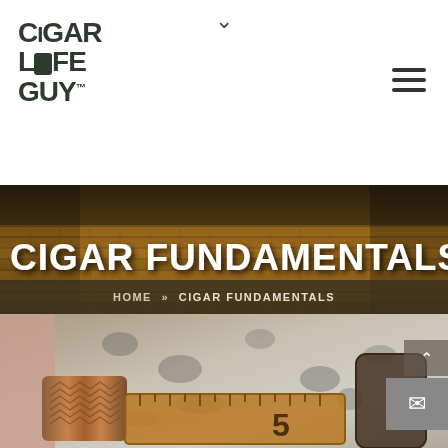[Figure (logo): Cigar Life Guy logo — stylized stacked text in dark olive/black: CIGAR | LIFE | GUY with TM superscript]
[Figure (photo): Hero banner photo showing rows of rolled cigars on a wooden mat background with warm brown tones, overlaid with large white bold uppercase text 'CIGAR FUNDAMENTALS']
HOME » CIGAR FUNDAMENTALS
[Figure (photo): Close-up photo of a cigar cutter/gauge tool with decorative wave engraving and a ruler scale showing the number 5, set against a granite countertop background]